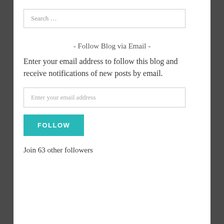[Figure (other): Search input box with placeholder text 'Search ...']
- Follow Blog via Email -
Enter your email address to follow this blog and receive notifications of new posts by email.
[Figure (other): Email input field with placeholder 'Enter your email address']
[Figure (other): Teal FOLLOW button]
Join 63 other followers